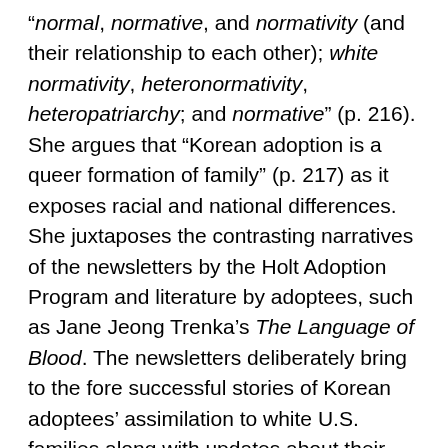“normal, normative, and normativity (and their relationship to each other); white normativity, heteronormativity, heteropatriarchy; and normative” (p. 216). She argues that “Korean adoption is a queer formation of family” (p. 217) as it exposes racial and national differences. She juxtaposes the contrasting narratives of the newsletters by the Holt Adoption Program and literature by adoptees, such as Jane Jeong Trenka’s The Language of Blood. The newsletters deliberately bring to the fore successful stories of Korean adoptees’ assimilation to white U.S. families along with updates about their graduations and marriages. The rhetoric facilitated in the newsletters is a tool to reassure potential adoptive parents that they could form normative families with these racially, culturally, and nationally